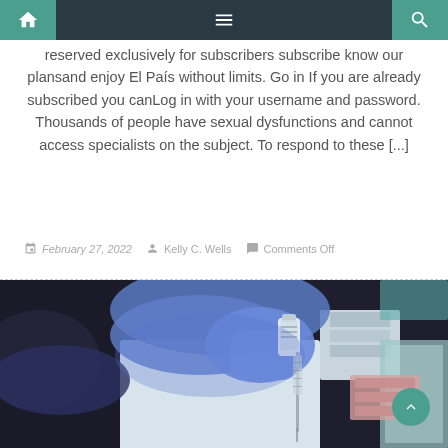Navigation bar with home, menu and search icons
reserved exclusively for subscribers subscribe know our plansand enjoy El País without limits. Go in If you are already subscribed you canLog in with your username and password. Thousands of people have sexual dysfunctions and cannot access specialists on the subject. To respond to these [...]
February 27, 2022   Kelly C. Wells   Comments Off
[Figure (photo): A gloved hand (blue latex glove) holding a vaccine vial and syringe, with medical supplies in background]